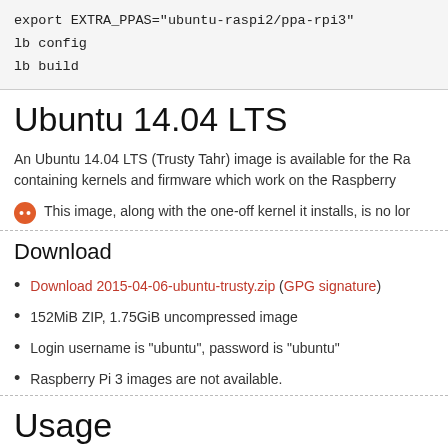export EXTRA_PPAS="ubuntu-raspi2/ppa-rpi3"
lb config
lb build
Ubuntu 14.04 LTS
An Ubuntu 14.04 LTS (Trusty Tahr) image is available for the Ra containing kernels and firmware which work on the Raspberry
This image, along with the one-off kernel it installs, is no lor
Download
Download 2015-04-06-ubuntu-trusty.zip (GPG signature)
152MiB ZIP, 1.75GiB uncompressed image
Login username is "ubuntu", password is "ubuntu"
Raspberry Pi 3 images are not available.
Usage